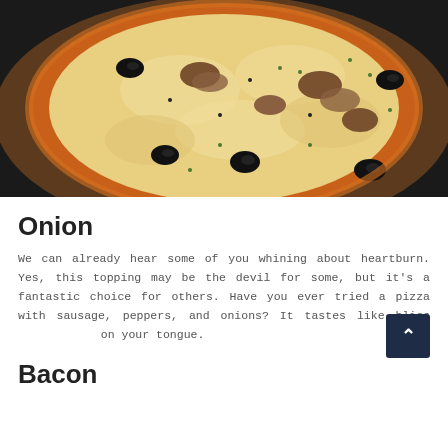[Figure (photo): Top-down photograph of a pizza with black olives, mushrooms, melted cheese, and herbs on a wooden board against a dark background]
Onion
We can already hear some of you whining about heartburn. Yes, this topping may be the devil for some, but it's a fantastic choice for others. Have you ever tried a pizza with sausage, peppers, and onions? It tastes like bliss on your tongue.
Bacon